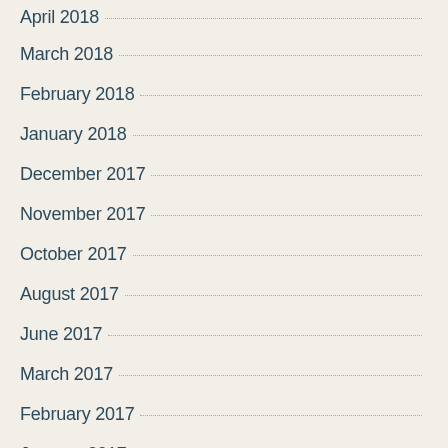April 2018
March 2018
February 2018
January 2018
December 2017
November 2017
October 2017
August 2017
June 2017
March 2017
February 2017
January 2017